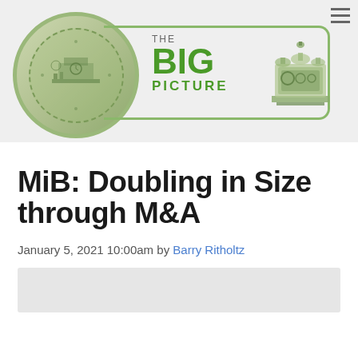[Figure (logo): The Big Picture blog header logo with a coin/medallion illustration on the left, key shaft design, the text THE BIG PICTURE in green, and a mechanical machine illustration on the right]
MiB: Doubling in Size through M&A
January 5, 2021 10:00am by Barry Ritholtz